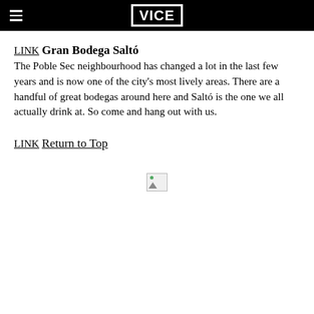VICE
LINK
Gran Bodega Saltó
The Poble Sec neighbourhood has changed a lot in the last few years and is now one of the city's most lively areas. There are a handful of great bodegas around here and Saltó is the one we all actually drink at. So come and hang out with us.
LINK
Return to Top
[Figure (other): Broken image placeholder icon]